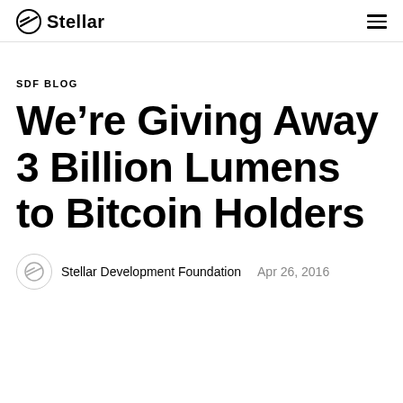Stellar
SDF BLOG
We're Giving Away 3 Billion Lumens to Bitcoin Holders
Stellar Development Foundation  Apr 26, 2016